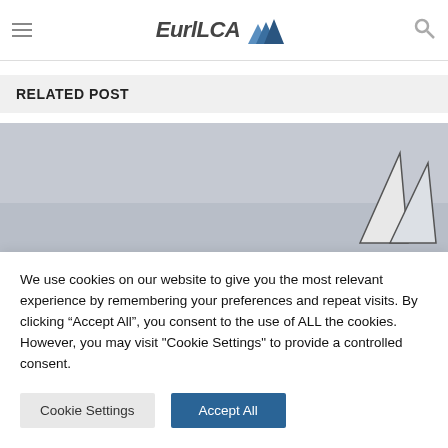EurlLCA [logo]
RELATED POST
[Figure (photo): Sailing boat sails partially visible against a grey overcast sky]
We use cookies on our website to give you the most relevant experience by remembering your preferences and repeat visits. By clicking “Accept All”, you consent to the use of ALL the cookies. However, you may visit "Cookie Settings" to provide a controlled consent.